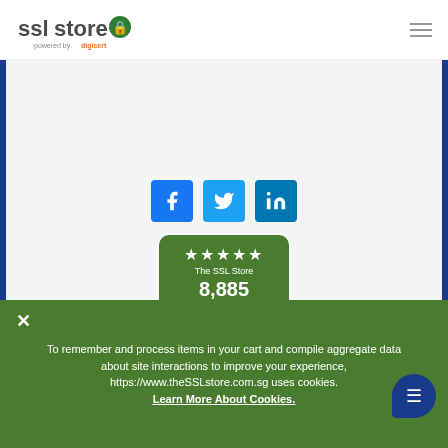[Figure (logo): SSLStore logo powered by DigiCert, with hamburger menu icon]
[Figure (infographic): Social media share buttons: Facebook, Twitter, LinkedIn]
[Figure (infographic): Shopper Approved badge: The SSL Store, 8,885 Ratings & Reviews, 5 stars]
[Figure (infographic): Payment method icons: Visa, Mastercard, PayPal, American Express]
To remember and process items in your cart and compile aggregate data about site interactions to improve your experience, https://www.theSSLstore.com.sg uses cookies.
Learn More About Cookies.